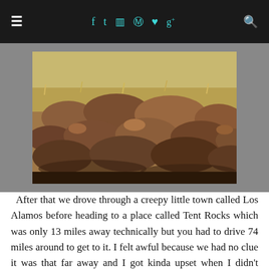≡  f  t  ☷  ℗  ♥  g+  🔍
[Figure (photo): A field of reddish-brown rocks and boulders with dry grass in the background, landscape outdoor scene]
After that we drove through a creepy little town called Los Alamos before heading to a place called Tent Rocks which was only 13 miles away technically but you had to drive 74 miles around to get to it. I felt awful because we had no clue it was that far away and I got kinda upset when I didn't think we'd make it but my dad is amazing and got us there with just enough time to explore a bit before the park closed.